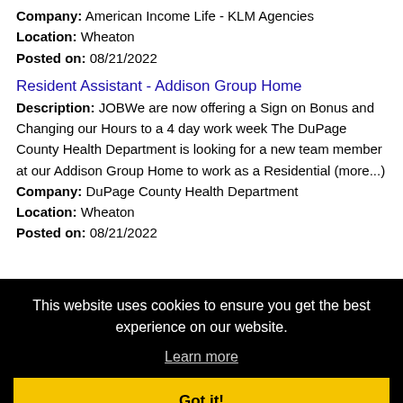Company: American Income Life - KLM Agencies
Location: Wheaton
Posted on: 08/21/2022
Resident Assistant - Addison Group Home
Description: JOBWe are now offering a Sign on Bonus and Changing our Hours to a 4 day work week The DuPage County Health Department is looking for a new team member at our Addison Group Home to work as a Residential (more...)
Company: DuPage County Health Department
Location: Wheaton
Posted on: 08/21/2022
This website uses cookies to ensure you get the best experience on our website.
Learn more
Got it!
Salary in Hoffman Estates, Illinois Area | More details for Hoffman Estates, Illinois Jobs |Salary